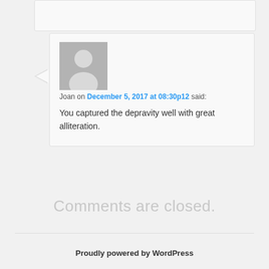[Figure (other): Partial comment box cropped at top of page]
[Figure (photo): Default WordPress avatar — gray silhouette of a person on gray background]
Joan on December 5, 2017 at 08:30p12 said:
You captured the depravity well with great alliteration.
Comments are closed.
Proudly powered by WordPress